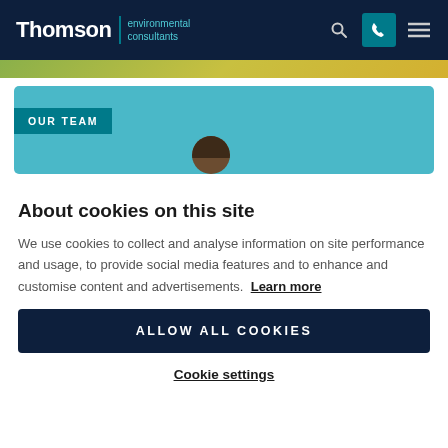Thomson environmental consultants
[Figure (photo): Top image strip showing outdoor scene with green/yellow tones]
[Figure (photo): Our Team card with light blue background and person partially visible]
About cookies on this site
We use cookies to collect and analyse information on site performance and usage, to provide social media features and to enhance and customise content and advertisements. Learn more
ALLOW ALL COOKIES
Cookie settings